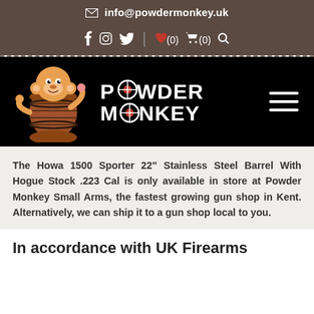✉ info@powdermonkey.uk
f  ⊙  𝕿  |  ♥(0)  🛒(0)  🔍
[Figure (logo): Powder Monkey logo: cartoon monkey holding a barrel, with the text POWDER MONKEY alongside a crosshair sight replacing the letter O]
The Howa 1500 Sporter 22" Stainless Steel Barrel With Hogue Stock .223 Cal is only available in store at Powder Monkey Small Arms, the fastest growing gun shop in Kent. Alternatively, we can ship it to a gun shop local to you.
In accordance with UK Firearms